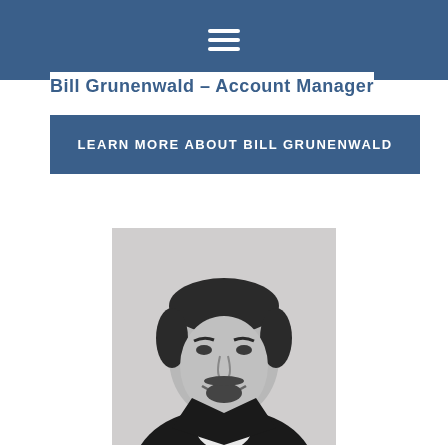Bill Grunenwald – Account Manager
LEARN MORE ABOUT BILL GRUNENWALD
[Figure (photo): Black and white headshot photo of Bill Grunenwald, a man with short dark hair and a goatee, wearing a dark jacket over a white shirt, smiling.]